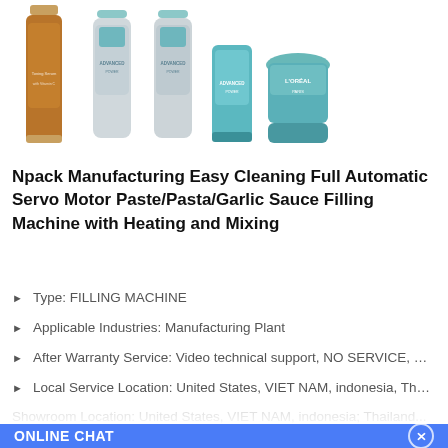[Figure (photo): Product images showing various cosmetic/beauty bottles and tubes including a brown glass bottle, three silver tubes with teal accents, and a L'Oreal cream jar]
Npack Manufacturing Easy Cleaning Full Automatic Servo Motor Paste/Pasta/Garlic Sauce Filling Machine with Heating and Mixing
Type: FILLING MACHINE
Applicable Industries: Manufacturing Plant
After Warranty Service: Video technical support, NO SERVICE, Onl...
Local Service Location: United States, VIET NAM, indonesia, Thail...
Showroom Location: United States, VIET NAM, indonesia, Thailand...
[Figure (screenshot): Online chat widget with blue banner saying ONLINE CHAT and a close button, below showing a customer service representative named Cilina with a chat bubble saying Hi, welcome to visit our website, and an orange scroll-to-top button]